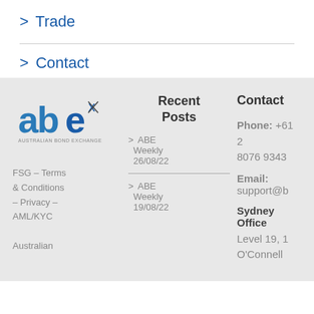> Trade
> Contact
[Figure (logo): ABE Australian Bond Exchange logo with stylized 'abex' text in blue and dark grey]
Recent Posts
> ABE Weekly 26/08/22
> ABE Weekly 19/08/22
Contact
Phone: +61 2 8076 9343
Email: support@b
Sydney Office Level 19, 1 O'Connell
FSG – Terms & Conditions – Privacy – AML/KYC
Australian